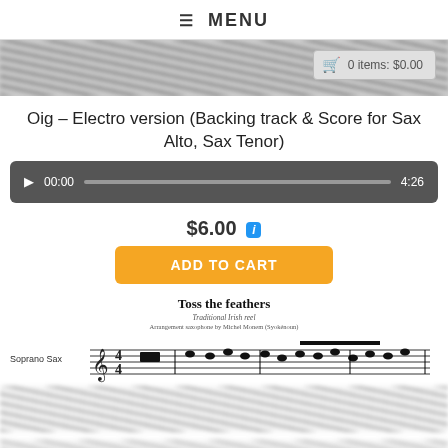≡ MENU
[Figure (illustration): Blurred sheet music strip at top of page with shopping cart badge showing '0 items: $0.00']
Oig – Electro version (Backing track & Score for Sax Alto, Sax Tenor)
[Figure (screenshot): Audio player bar showing 00:00 start time and 4:26 end time with play button and progress bar]
$6.00 i
ADD TO CART
[Figure (illustration): Sheet music preview showing 'Toss the feathers' title, Traditional Irish reel, arrangement for saxophone by Michel Monem (Syokénoun), with Soprano Sax staff line and notes, rest of image blurred]